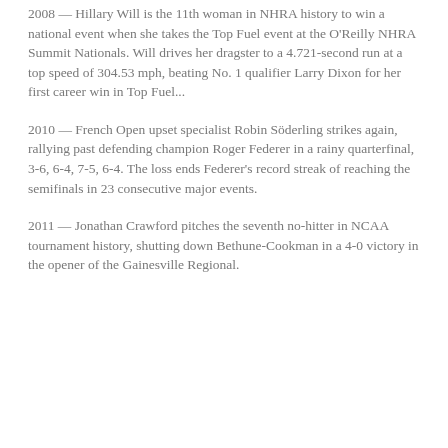2008 — Hillary Will is the 11th woman in NHRA history to win a national event when she takes the Top Fuel event at the O'Reilly NHRA Summit Nationals. Will drives her dragster to a 4.721-second run at a top speed of 304.53 mph, beating No. 1 qualifier Larry Dixon for her first career win in Top Fuel...
2010 — French Open upset specialist Robin Söderling strikes again, rallying past defending champion Roger Federer in a rainy quarterfinal, 3-6, 6-4, 7-5, 6-4. The loss ends Federer's record streak of reaching the semifinals in 23 consecutive major events.
2011 — Jonathan Crawford pitches the seventh no-hitter in NCAA tournament history, shutting down Bethune-Cookman in a 4-0 victory in the opener of the Gainesville Regional.